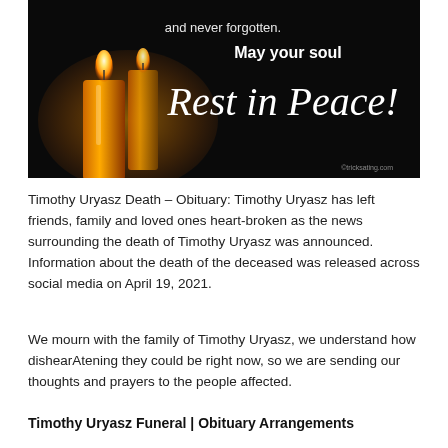[Figure (illustration): Dark black background with two glowing orange candles on the left. White text reads 'and never forgotten. May your soul' and large script text reads 'Rest in Peace!' in white italic font.]
Timothy Uryasz Death – Obituary: Timothy Uryasz has left friends, family and loved ones heart-broken as the news surrounding the death of Timothy Uryasz was announced. Information about the death of the deceased was released across social media on April 19, 2021.
We mourn with the family of Timothy Uryasz, we understand how dishearAtening they could be right now, so we are sending our thoughts and prayers to the people affected.
Timothy Uryasz Funeral | Obituary Arrangements